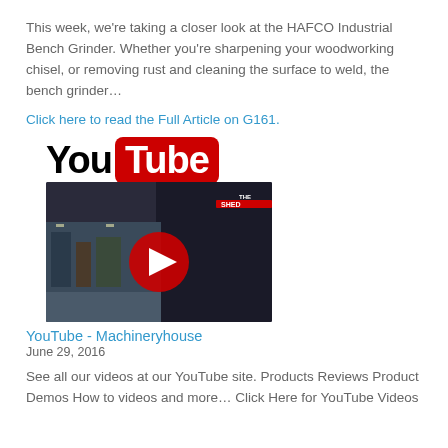This week, we're taking a closer look at the HAFCO Industrial Bench Grinder. Whether you're sharpening your woodworking chisel, or removing rust and cleaning the surface to weld, the bench grinder…
Click here to read the Full Article on G161.
[Figure (screenshot): YouTube logo and a thumbnail image of 'The Shed' YouTube channel video with a red play button overlay]
YouTube - Machineryhouse
June 29, 2016
See all our videos at our YouTube site. Products Reviews Product Demos How to videos and more… Click Here for YouTube Videos